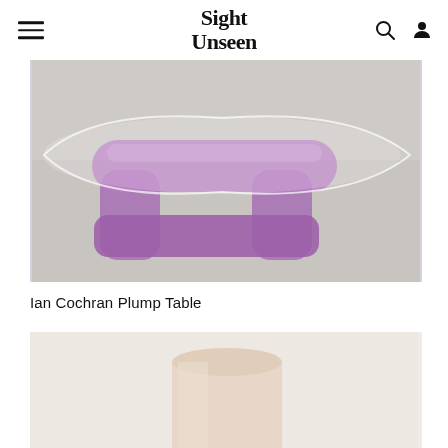Sight Unseen
[Figure (photo): A purple/violet translucent acrylic coffee table with a clear glass oval tabletop, photographed on a grey concrete floor. The table base has a chunky, curved H-shaped form with tubular legs.]
Ian Cochran Plump Table
[Figure (photo): A pale pink/blush cylindrical stool or side table, partially visible, photographed against a light background.]